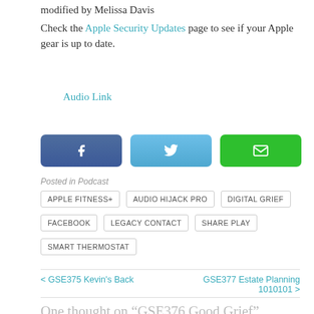modified by Melissa Davis
Check the Apple Security Updates page to see if your Apple gear is up to date.
Audio Link
[Figure (other): Social share buttons: Facebook (dark blue), Twitter (light blue), Email (green)]
Posted in Podcast
APPLE FITNESS+
AUDIO HIJACK PRO
DIGITAL GRIEF
FACEBOOK
LEGACY CONTACT
SHARE PLAY
SMART THERMOSTAT
< GSE375 Kevin's Back
GSE377 Estate Planning 1010101 >
One thought on “GSE376 Good Grief”